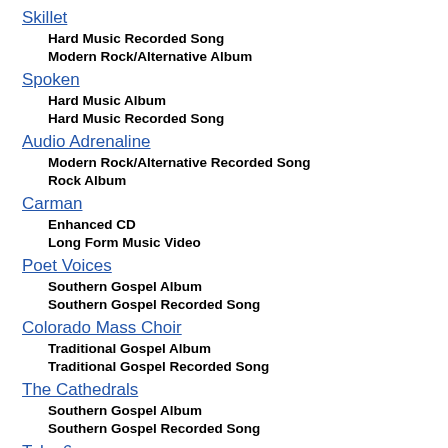Skillet
Hard Music Recorded Song
Modern Rock/Alternative Album
Spoken
Hard Music Album
Hard Music Recorded Song
Audio Adrenaline
Modern Rock/Alternative Recorded Song
Rock Album
Carman
Enhanced CD
Long Form Music Video
Poet Voices
Southern Gospel Album
Southern Gospel Recorded Song
Colorado Mass Choir
Traditional Gospel Album
Traditional Gospel Recorded Song
The Cathedrals
Southern Gospel Album
Southern Gospel Recorded Song
Take 6